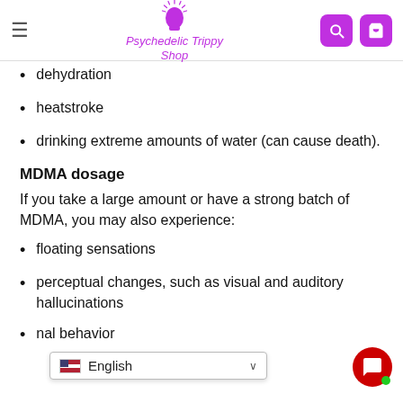Psychedelic Trippy Shop
dehydration
heatstroke
drinking extreme amounts of water (can cause death).
MDMA dosage
If you take a large amount or have a strong batch of MDMA, you may also experience:
floating sensations
perceptual changes, such as visual and auditory hallucinations
...nal behavior